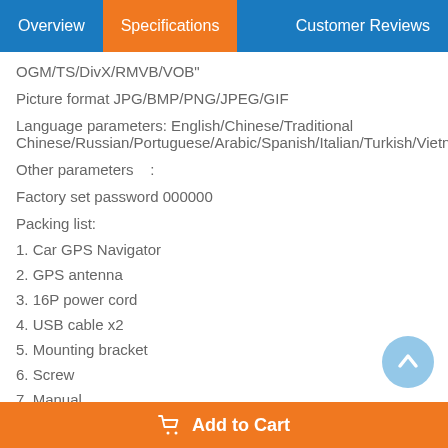Overview | Specifications | Customer Reviews
OGM/TS/DivX/RMVB/VOB"
Picture format JPG/BMP/PNG/JPEG/GIF
Language parameters: English/Chinese/Traditional Chinese/Russian/Portuguese/Arabic/Spanish/Italian/Turkish/Vietnamese/Thai/K
Other parameters   :
Factory set password 000000
Packing list:
1. Car GPS Navigator
2. GPS antenna
3. 16P power cord
4. USB cable x2
5. Mounting bracket
6. Screw
7. Manual
8. Rear microphone cable
9. WIFI antenna
Add to Cart